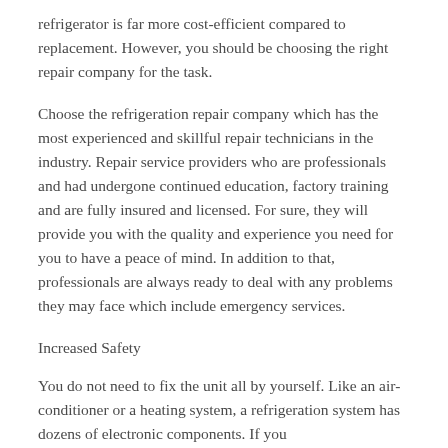refrigerator is far more cost-efficient compared to replacement. However, you should be choosing the right repair company for the task.
Choose the refrigeration repair company which has the most experienced and skillful repair technicians in the industry. Repair service providers who are professionals and had undergone continued education, factory training and are fully insured and licensed. For sure, they will provide you with the quality and experience you need for you to have a peace of mind. In addition to that, professionals are always ready to deal with any problems they may face which include emergency services.
Increased Safety
You do not need to fix the unit all by yourself. Like an air-conditioner or a heating system, a refrigeration system has dozens of electronic components. If you